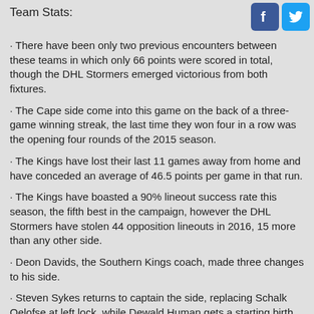Team Stats:
· There have been only two previous encounters between these teams in which only 66 points were scored in total, though the DHL Stormers emerged victorious from both fixtures.
· The Cape side come into this game on the back of a three-game winning streak, the last time they won four in a row was the opening four rounds of the 2015 season.
· The Kings have lost their last 11 games away from home and have conceded an average of 46.5 points per game in that run.
· The Kings have boasted a 90% lineout success rate this season, the fifth best in the campaign, however the DHL Stormers have stolen 44 opposition lineouts in 2016, 15 more than any other side.
· Deon Davids, the Southern Kings coach, made three changes to his side.
· Steven Sykes returns to captain the side, replacing Schalk Oelofse at left lock, while Dewald Human gets a starting birth at flyhalf for the first time.